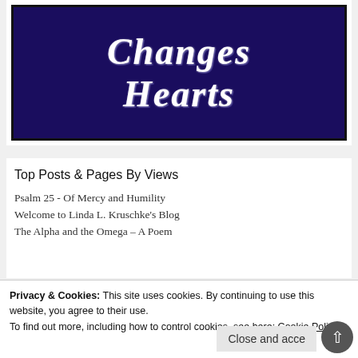[Figure (illustration): Dark navy/indigo book cover with white chalky handwritten-style text reading 'Changes Hearts' in large italic serif letters, with a dark border.]
Top Posts & Pages By Views
Psalm 25 - Of Mercy and Humility
Welcome to Linda L. Kruschke's Blog
The Alpha and the Omega – A Poem
Privacy & Cookies: This site uses cookies. By continuing to use this website, you agree to their use. To find out more, including how to control cookies, see here: Cookie Policy
Sharing Our Gardens